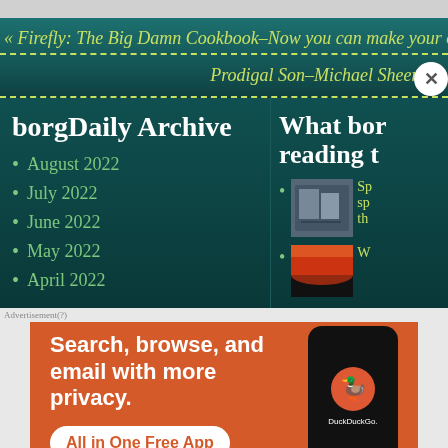« Firefly: The Big Damn Cookbook–Now you can make your own be
Prodigal Son–Michael Sheen tal
borgDaily Archive
August 2022
July 2022
June 2022
May 2022
April 2022
What bor reading t
[Figure (photo): Thumbnail image of a product (bluray/DVD set)]
Sp sp th
[Figure (photo): Thumbnail image showing a red sunset landscape]
W
[Figure (screenshot): DuckDuckGo advertisement banner: Search, browse, and email with more privacy. All in One Free App]
Advertisement(?)